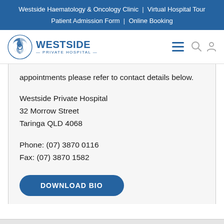Westside Haematology & Oncology Clinic | Virtual Hospital Tour
Patient Admission Form | Online Booking
[Figure (logo): Westside Private Hospital logo with circular gear/wave icon in blue and text 'WESTSIDE PRIVATE HOSPITAL']
appointments please refer to contact details below.
Westside Private Hospital
32 Morrow Street
Taringa QLD 4068
Phone: (07) 3870 0116
Fax: (07) 3870 1582
DOWNLOAD BIO